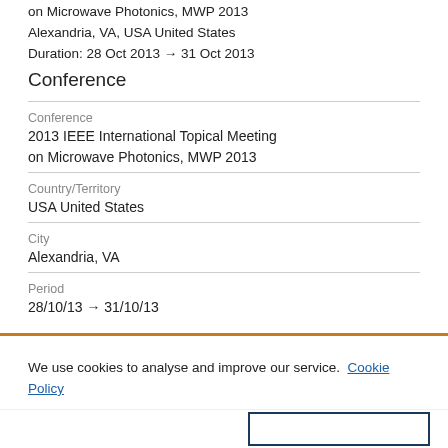on Microwave Photonics, MWP 2013
Alexandria, VA, USA United States
Duration: 28 Oct 2013 → 31 Oct 2013
Conference
Conference
2013 IEEE International Topical Meeting on Microwave Photonics, MWP 2013
Country/Territory
USA United States
City
Alexandria, VA
Period
28/10/13 → 31/10/13
We use cookies to analyse and improve our service. Cookie Policy